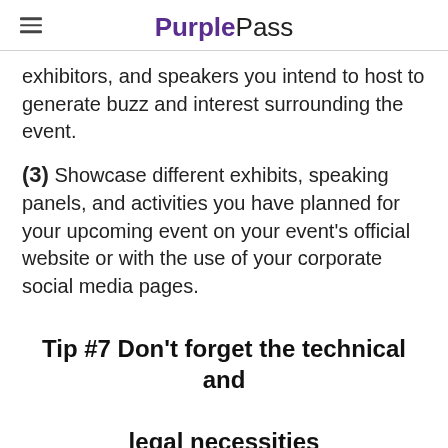PurplePass
exhibitors, and speakers you intend to host to generate buzz and interest surrounding the event.
(3) Showcase different exhibits, speaking panels, and activities you have planned for your upcoming event on your event's official website or with the use of your corporate social media pages.
Tip #7 Don't forget the technical and legal necessities